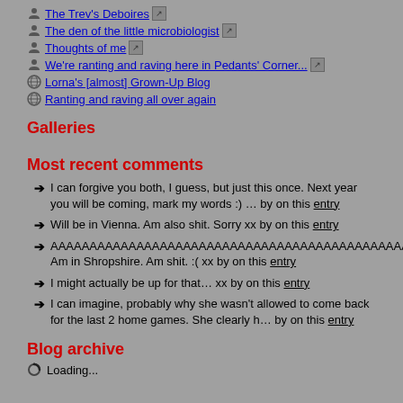The Trev's Deboires
The den of the little microbiologist
Thoughts of me
We're ranting and raving here in Pedants' Corner...
Lorna's [almost] Grown-Up Blog
Ranting and raving all over again
Galleries
Most recent comments
I can forgive you both, I guess, but just this once. Next year you will be coming, mark my words :) … by on this entry
Will be in Vienna. Am also shit. Sorry xx by on this entry
AAAAAAAAAAAAAAAAAAAAAAAAAAAAAAAAAAAAAAAAAAAAAAAAAAAAAAAAARG. Am in Shropshire. Am shit. :( xx by on this entry
I might actually be up for that… xx by on this entry
I can imagine, probably why she wasn't allowed to come back for the last 2 home games. She clearly h… by on this entry
Blog archive
Loading...